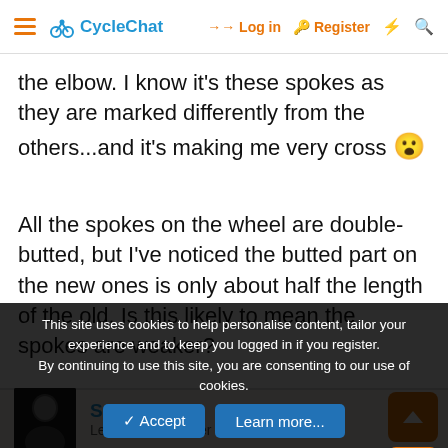CycleChat — Log in | Register
the elbow. I know it's these spokes as they are marked differently from the others...and it's making me very cross 😮
All the spokes on the wheel are double-butted, but I've noticed the butted part on the new ones is only about half the length of the old. Is this likely to mean the spokes are weaker?
Smokin Joe — Legendary Member
This site uses cookies to help personalise content, tailor your experience and to keep you logged in if you register. By continuing to use this site, you are consenting to our use of cookies.